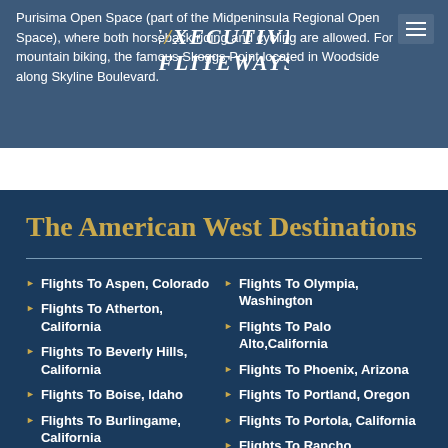Purisima Open Space (part of the Midpeninsula Regional Open Space), where both horseback riding and cycling are allowed. For mountain biking, the famous Skeggs Point located in Woodside along Skyline Boulevard.
[Figure (logo): Executive Fliteways logo with stylized slash/F design in italic serif text]
The American West Destinations
Flights To Aspen, Colorado
Flights To Atherton, California
Flights To Beverly Hills, California
Flights To Boise, Idaho
Flights To Burlingame, California
Flights To Carson City, Nevada
Flights To Olympia, Washington
Flights To Palo Alto,California
Flights To Phoenix, Arizona
Flights To Portland, Oregon
Flights To Portola, California
Flights To Rancho